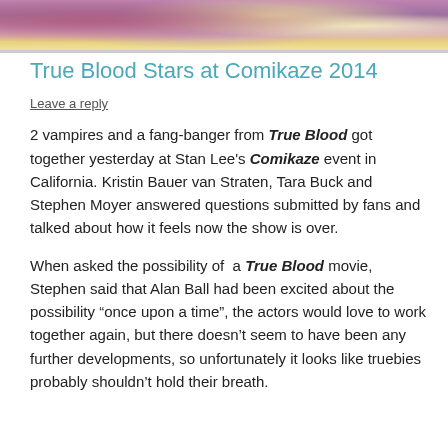[Figure (photo): Photo strip showing True Blood stars at Comikaze 2014, cropped at top of page showing colorful wigs and costumes]
True Blood Stars at Comikaze 2014
Leave a reply
2 vampires and a fang-banger from True Blood got together yesterday at Stan Lee's Comikaze event in California. Kristin Bauer van Straten, Tara Buck and Stephen Moyer answered questions submitted by fans and talked about how it feels now the show is over.
When asked the possibility of  a True Blood movie, Stephen said that Alan Ball had been excited about the possibility “once upon a time”, the actors would love to work together again, but there doesn’t seem to have been any further developments, so unfortunately it looks like truebies probably shouldn’t hold their breath.